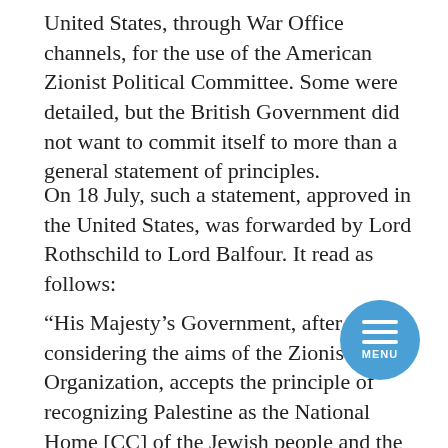United States, through War Office channels, for the use of the American Zionist Political Committee. Some were detailed, but the British Government did not want to commit itself to more than a general statement of principles.
On 18 July, such a statement, approved in the United States, was forwarded by Lord Rothschild to Lord Balfour. It read as follows:
“His Majesty’s Government, after considering the aims of the Zionist Organization, accepts the principle of recognizing Palestine as the National Home [CC] of the Jewish people and the right of the Jewish people to build up its national life in Palestine under a protectorate to be established at the conclusion of peace following the successful issue of war. His Majesty’s Government regards as essential for the realization of this principle the grant of internal